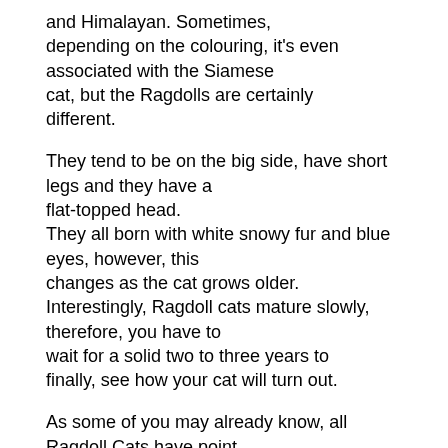and Himalayan. Sometimes, depending on the colouring, it's even associated with the Siamese cat, but the Ragdolls are certainly different.

They tend to be on the big side, have short legs and they have a flat-topped head.
They all born with white snowy fur and blue eyes, however, this changes as the cat grows older.
Interestingly, Ragdoll cats mature slowly, therefore, you have to wait for a solid two to three years to finally, see how your cat will turn out.

As some of you may already know, all Ragdoll Cats have point coloration, which means, they all have a darker shade of colour in their extremities in comparison to the pale rest of their bodies. These extremities include ears, tails, face, and feet. Just predicting the